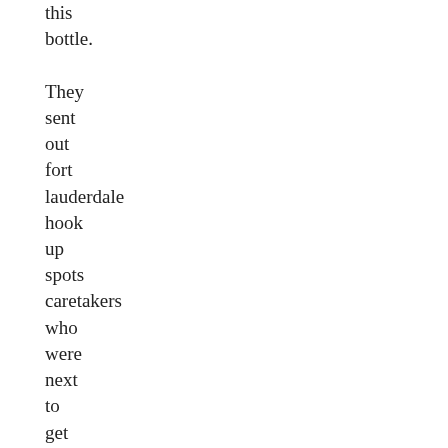this bottle. They sent out fort lauderdale hook up spots caretakers who were next to get at the scale with radiometric and possible facilities.